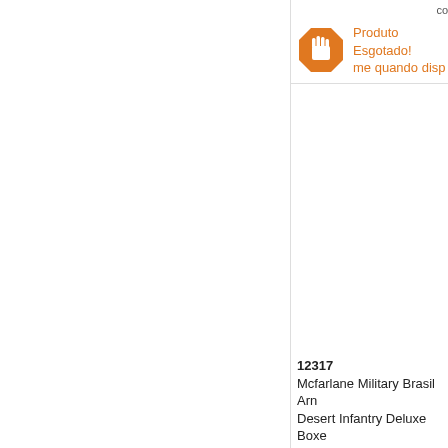[Figure (screenshot): Orange stop-hand octagon icon for 'Produto Esgotado' (product out of stock)]
Produto Esgotado! me quando disp
12317
Mcfarlane Military Brasil Arm Desert Infantry Deluxe Boxe ( + barato que EBAY )
R$ 199,00
[Figure (screenshot): Orange stop-hand octagon icon for 'Produto Esgotado' (product out of stock)]
Produto Esgotado! me quando disp